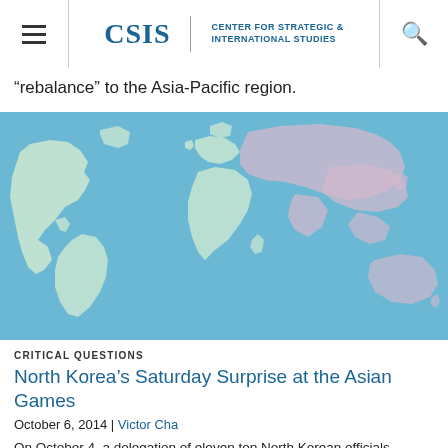CSIS | CENTER FOR STRATEGIC & INTERNATIONAL STUDIES
rebalance” to the Asia-Pacific region.
[Figure (map): World map with light blue background; continental landmasses shown in pale green/cream; Asia region highlighted in light pink/lavender.]
CRITICAL QUESTIONS
North Korea’s Saturday Surprise at the Asian Games
October 6, 2014 | Victor Cha
On October 4, a delegation of eleven top North Korean officials,